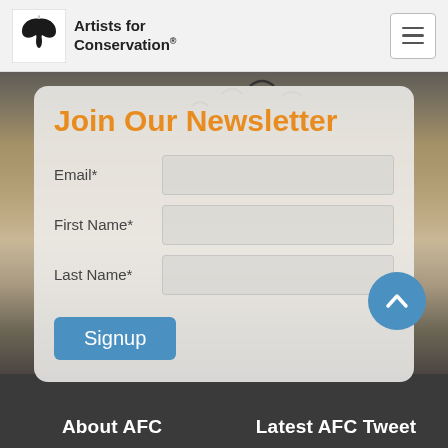Artists for Conservation
[Figure (screenshot): Website screenshot showing a newsletter signup form overlaid on a photo of birds flying over ocean at sunset/dusk. Below is a dark footer with About AFC and Latest AFC Tweet columns.]
Join Our Newsletter
Email*
First Name*
Last Name*
Signup
About AFC | Latest AFC Tweet